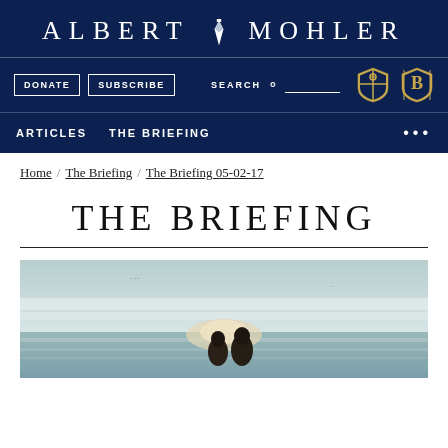ALBERT MOHLER
[Figure (screenshot): Navigation bar with DONATE and SUBSCRIBE buttons, SEARCH field, and two institutional logos (cross shield and letter B shield)]
[Figure (screenshot): Main navigation with ARTICLES and THE BRIEFING links and ellipsis menu]
Home / The Briefing / The Briefing 05-02-17
THE BRIEFING
[Figure (illustration): Painting/illustration of two figures (people) viewed from behind against a pale blue sky and water background, suggestive of a beach or coastal scene]